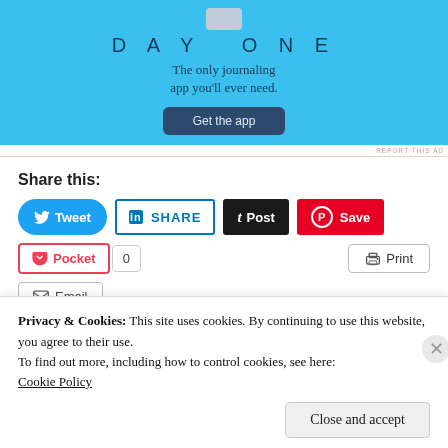[Figure (screenshot): Day One journaling app advertisement with blue background, DAY ONE title, tagline 'The only journaling app you'll ever need.', and 'Get the app' button]
REPORT THIS AD
Share this:
[Figure (screenshot): Social sharing buttons: Tweet (Twitter), SHARE (LinkedIn), Post (Tumblr), Save (Pinterest), Pocket with count 0, Print, Email]
Privacy & Cookies: This site uses cookies. By continuing to use this website, you agree to their use.
To find out more, including how to control cookies, see here:
Cookie Policy
Close and accept